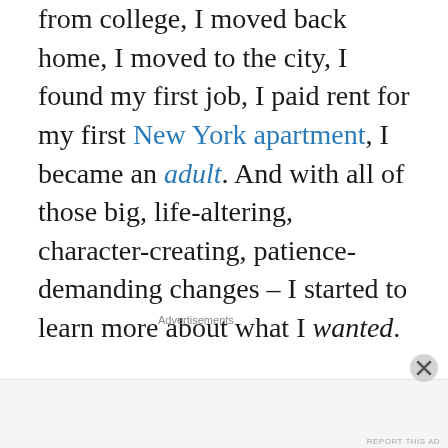from college, I moved back home, I moved to the city, I found my first job, I paid rent for my first New York apartment, I became an adult. And with all of those big, life-altering, character-creating, patience-demanding changes – I started to learn more about what I wanted.
Advertisements
Advertisements
[Figure (other): Advertisement banner: dark navy background with teal tree/person logo icon, teal text 'Launch your online course with WordPress', white 'Learn More' button with underline]